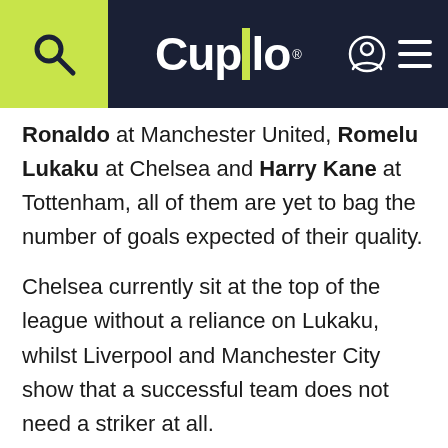Cupello
Ronaldo at Manchester United, Romelu Lukaku at Chelsea and Harry Kane at Tottenham, all of them are yet to bag the number of goals expected of their quality.
Chelsea currently sit at the top of the league without a reliance on Lukaku, whilst Liverpool and Manchester City show that a successful team does not need a striker at all.
So, what does this mean for strikers in the Premier League? Are they now a thing of the past?
False Number 9